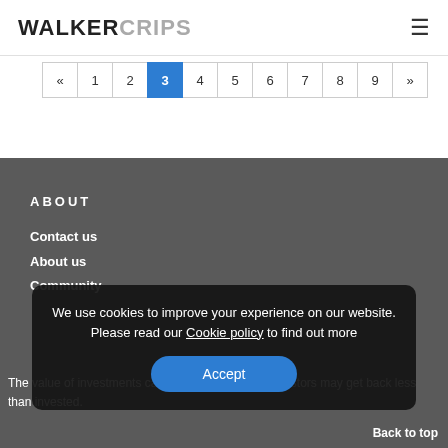WALKERCRIPS
« 1 2 3 4 5 6 7 8 9 »
About
Contact us
About us
Community
We use cookies to improve your experience on our website. Please read our Cookie policy to find out more
Accept
The value of investments can fall as well as rise. Investors may get back less than invested.
Back to top